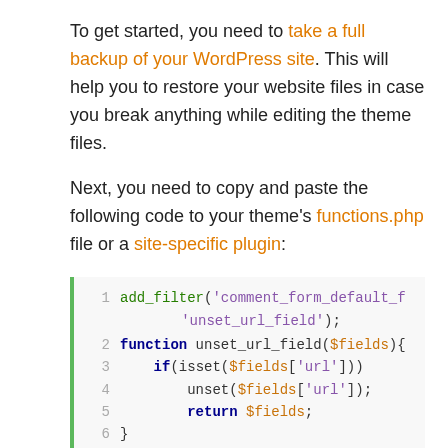To get started, you need to take a full backup of your WordPress site. This will help you to restore your website files in case you break anything while editing the theme files.
Next, you need to copy and paste the following code to your theme's functions.php file or a site-specific plugin:
[Figure (screenshot): Code block showing PHP snippet: add_filter with comment_form_default fields, function unset_url_field($fields), if(isset($fields['url'])) unset($fields['url']); return $fields; }]
This code simply removes the website field from your WordPress comment form. You can visit a blog